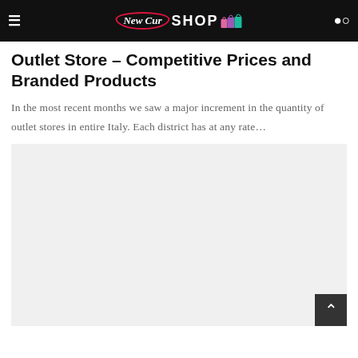New Cur SHOP
Outlet Store – Competitive Prices and Branded Products
In the most recent months we saw a major increment in the quantity of outlet stores in entire Italy. Each district has at any rate…
[Figure (photo): Large light gray placeholder image area below the article excerpt]